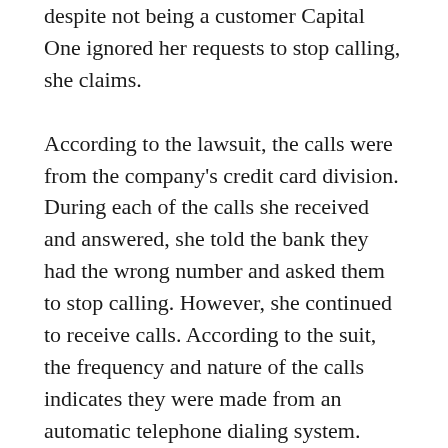despite not being a customer Capital One ignored her requests to stop calling, she claims.
According to the lawsuit, the calls were from the company's credit card division. During each of the calls she received and answered, she told the bank they had the wrong number and asked them to stop calling. However, she continued to receive calls. According to the suit, the frequency and nature of the calls indicates they were made from an automatic telephone dialing system.
Pitre further alleges she has never been a Capital One customer, has never given the bank her number or given her consent for them to call her.